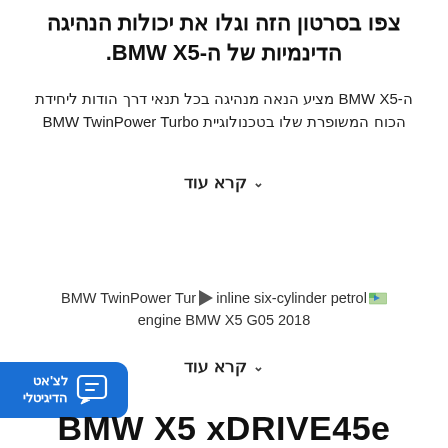צפו בסרטון הזה וגלו את יכולות הנהיגה הדינמיות של ה-BMW X5.
ה-BMW X5 מציע הנאה מנהיגה בכל תנאי דרך הודות ליחידת הכוח המשופרת שלו בטכנולוגיית BMW TwinPower Turbo
קרא עוד
BMW TwinPower Turbo inline six-cylinder petrol engine BMW X5 G05 2018
קרא עוד
[Figure (other): Digital chat widget button with Hebrew text לצ'אט הדיגיטלי]
BMW X5 xDRIVE45e